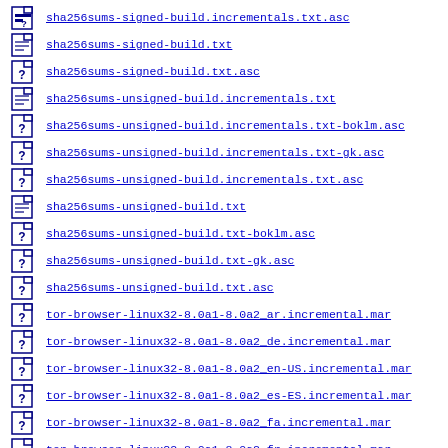sha256sums-signed-build.incrementals.txt.asc
sha256sums-signed-build.txt
sha256sums-signed-build.txt.asc
sha256sums-unsigned-build.incrementals.txt
sha256sums-unsigned-build.incrementals.txt-boklm.asc
sha256sums-unsigned-build.incrementals.txt-gk.asc
sha256sums-unsigned-build.incrementals.txt.asc
sha256sums-unsigned-build.txt
sha256sums-unsigned-build.txt-boklm.asc
sha256sums-unsigned-build.txt-gk.asc
sha256sums-unsigned-build.txt.asc
tor-browser-linux32-8.0a1-8.0a2_ar.incremental.mar
tor-browser-linux32-8.0a1-8.0a2_de.incremental.mar
tor-browser-linux32-8.0a1-8.0a2_en-US.incremental.mar
tor-browser-linux32-8.0a1-8.0a2_es-ES.incremental.mar
tor-browser-linux32-8.0a1-8.0a2_fa.incremental.mar
tor-browser-linux32-8.0a1-8.0a2_fr.incremental.mar